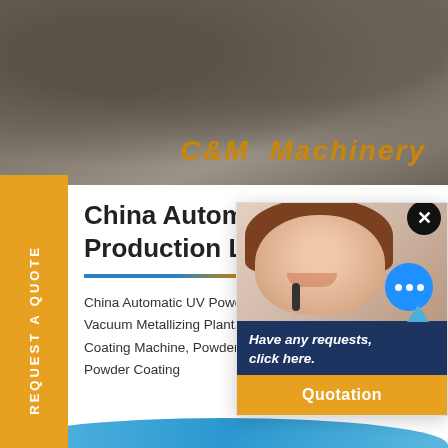[Figure (photo): Industrial machinery / quarry site with equipment, concrete structures in background. C&M Machinery logo text overlay in orange-brown italic.]
China Automatic UV Powder Production Line Vacuum
China Automatic UV Powder Coating Vacuum Metallizing Plant, Find details about Coating Machine, Powder Coating from Powder Coating
[Figure (photo): Chat support popup: female agent with headset smiling, blue circle chat icon, dark navy text area with 'Have any requests, click here.' text, yellow Quotation button.]